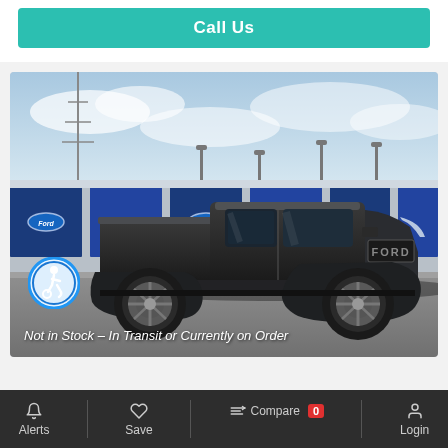Call Us
[Figure (photo): Dark gray Ford F-150 Raptor pickup truck parked in front of a building with blue Ford-branded panels, photographed from the side. Accessibility icon badge in lower left corner.]
Not in Stock – In Transit or Currently on Order
Alerts   Save   Compare 0   Login